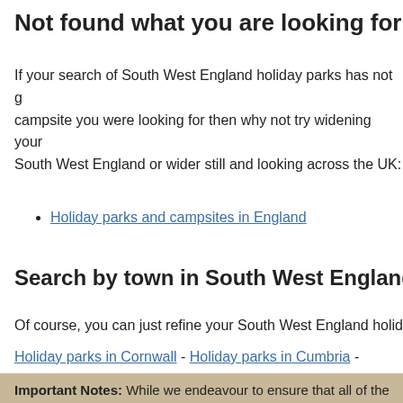Not found what you are looking for in South Wes
If your search of South West England holiday parks has not g campsite you were looking for then why not try widening your South West England or wider still and looking across the UK:
Holiday parks and campsites in England
Search by town in South West England
Of course, you can just refine your South West England holid
Holiday parks in Cornwall - Holiday parks in Cumbria - Holida Holiday parks in Gloucestershire - Holiday parks in Somerset
Important Notes: While we endeavour to ensure that all of the if a particular holiday feature is important to you, please choo